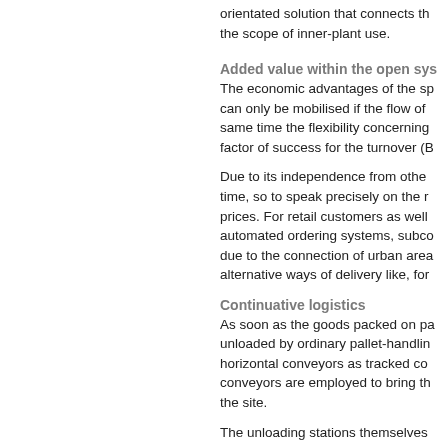orientated solution that connects the scope of inner-plant use.
Added value within the open sys
The economic advantages of the sp can only be mobilised if the flow of same time the flexibility concerning factor of success for the turnover (B
Due to its independence from othe time, so to speak precisely on the r prices. For retail customers as well automated ordering systems, subco due to the connection of urban area alternative ways of delivery like, for
Continuative logistics
As soon as the goods packed on pa unloaded by ordinary pallet-handlin horizontal conveyors as tracked co conveyors are employed to bring th the site.
The unloading stations themselves